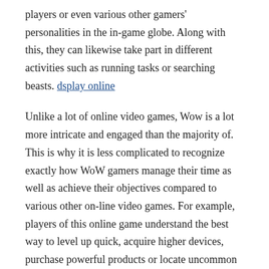players or even various other gamers' personalities in the in-game globe. Along with this, they can likewise take part in different activities such as running tasks or searching beasts. dsplay online
Unlike a lot of online video games, Wow is a lot more intricate and engaged than the majority of. This is why it is less complicated to recognize exactly how WoW gamers manage their time as well as achieve their objectives compared to various other on-line video games. For example, players of this online game understand the best way to level up quick, acquire higher devices, purchase powerful products or locate uncommon products swiftly so they can level up quickly and also acquire their set objectives in the virtual world.